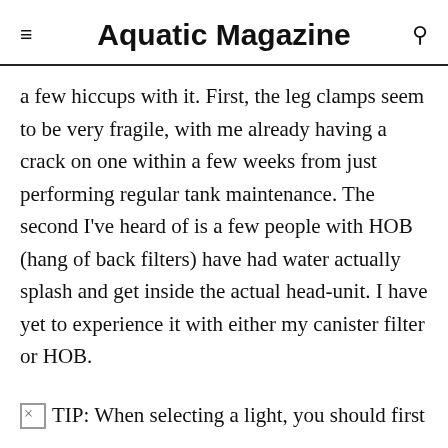Aquatic Magazine
a few hiccups with it. First, the leg clamps seem to be very fragile, with me already having a crack on one within a few weeks from just performing regular tank maintenance. The second I've heard of is a few people with HOB (hang of back filters) have had water actually splash and get inside the actual head-unit. I have yet to experience it with either my canister filter or HOB.
TIP: When selecting a light, you should first